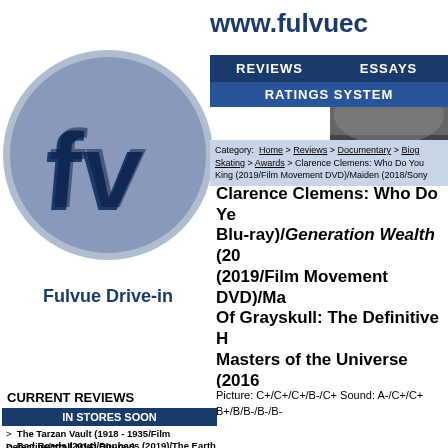www.fulvuec
[Figure (logo): Fulvue Drive-in logo: a circular grey badge with 'fv' letters in dark navy 3D block style, with text 'Fulvue Drive-in' below]
REVIEWS   ESSAYS
RATINGS SYSTEM
Category: Home > Reviews > Documentary > Biog Skating > Awards > Clarence Clemens: Who Do You King (2019/Film Movement DVD)/Maiden (2018/Sony
Clarence Clemens: Who Do Ye Blu-ray)/Generation Wealth (20 (2019/Film Movement DVD)/Ma Of Grayskull: The Definitive H Masters of the Universe (2016
CURRENT REVIEWS
IN STORES SOON
>  The Tarzan Vault (1918 - 1935/Film Detective/***all MVD Blu-ray)
>  Bad Roads (2014)/Donbass (2019)/The Earth Is Blue As An Orange (2020)/Reflection (2019/all Film Movement DVDs)
>  Murder At Yellowstone City (2022/RLJ Blu-ray)
>  Stingray (1964 - 1965**)/That Dirty Black Bag: Season 1 (2022/AMC/RLJ Blu-ray)/Wanted: Dead Or Alive (1958 - 1961/**both Via Vision PAL Region Free Import DVD Complete Series sets)
>  Batwoman: The Complete Third &
Picture: C+/C+/C+/B-/C+ Sound: A-/C+/C+ B+/B/B-/B-/B-